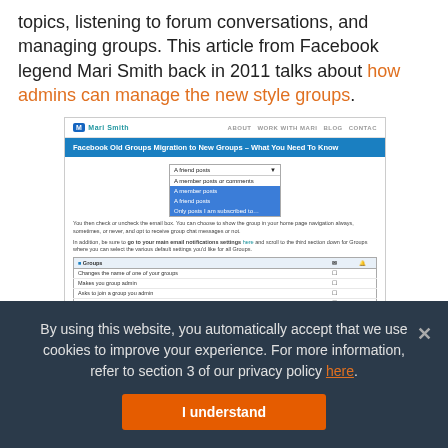topics, listening to forum conversations, and managing groups. This article from Facebook legend Mari Smith back in 2011 talks about how admins can manage the new style groups.
[Figure (screenshot): Screenshot of Mari Smith's website showing a blog post titled 'Facebook Old Groups Migration to New Groups – What You Need To Know', with a dropdown menu showing notification options and a settings table for group email notifications.]
By using this website, you automatically accept that we use cookies to improve your experience. For more information, refer to section 3 of our privacy policy here.